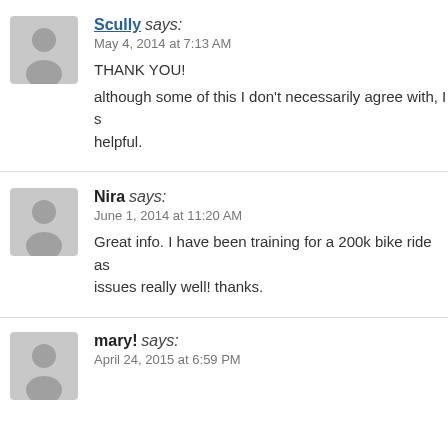Scully says:
May 4, 2014 at 7:13 AM

THANK YOU!
although some of this I don't necessarily agree with, I s... helpful.
Nira says:
June 1, 2014 at 11:20 AM

Great info. I have been training for a 200k bike ride as... issues really well! thanks.
mary! says:
April 24, 2015 at 6:59 PM